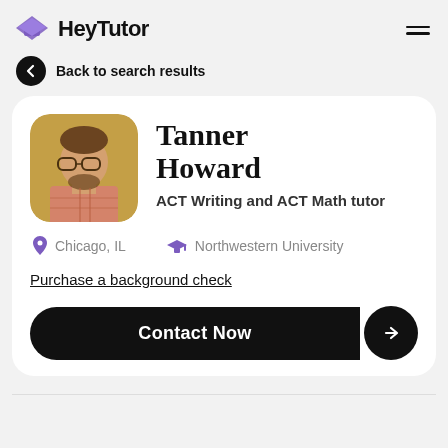HeyTutor
Back to search results
Tanner Howard
ACT Writing and ACT Math tutor
Chicago, IL
Northwestern University
Purchase a background check
Contact Now